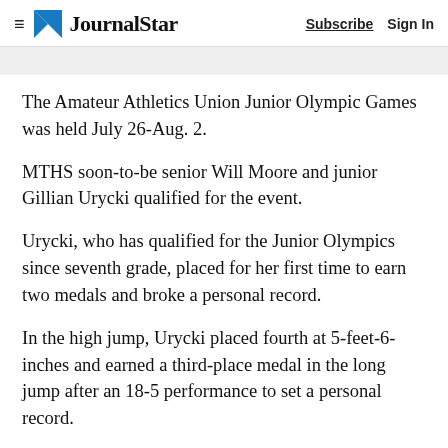Journal Star — Subscribe | Sign In
The Amateur Athletics Union Junior Olympic Games was held July 26-Aug. 2.
MTHS soon-to-be senior Will Moore and junior Gillian Urycki qualified for the event.
Urycki, who has qualified for the Junior Olympics since seventh grade, placed for her first time to earn two medals and broke a personal record.
In the high jump, Urycki placed fourth at 5-feet-6-inches and earned a third-place medal in the long jump after an 18-5 performance to set a personal record.